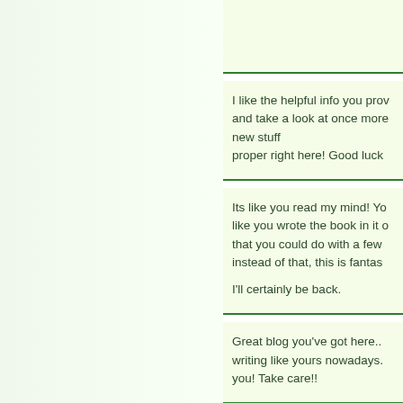I like the helpful info you provide in your articles and take a look at once more right here regularly. I'm fairly certain I'll be told plenty of new stuff proper right here! Good luck for the next!
Its like you read my mind! You seem to know so much about this, like you wrote the book in it or something. I think that you could do with a few pics to drive the message home a bit, but instead of that, this is fantastic blog. A great read. I'll certainly be back.
Great blog you've got here.. It's hard to find good quality writing like yours nowadays. I seriously appreciate people like you! Take care!!